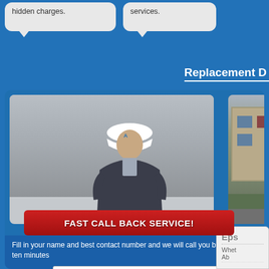hidden charges.
services.
Replacement D
[Figure (photo): Worker in white hard hat and dark jacket inspecting a window frame]
[Figure (photo): Partial view of a building exterior (right side, partially cropped)]
FAST CALL BACK SERVICE!
Fill in your name and best contact number and we will call you back within ten minutes
Name:
Phone:
Call Me Back
Or contact our freefone help-line: 0800 051 8600
Eps
Whet
Ab